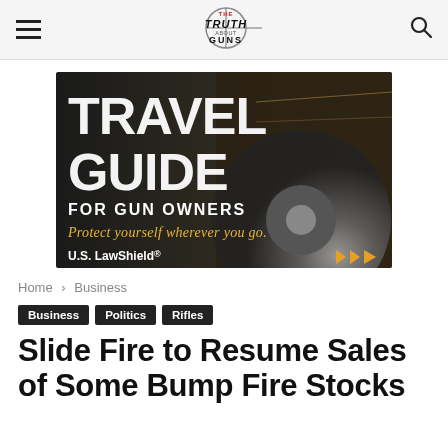The Truth About Guns
[Figure (illustration): Travel Guide for Gun Owners advertisement banner by U.S. LawShield. Shows a spinning car wheel with bold text 'TRAVEL GUIDE FOR GUN OWNERS' and italic yellow text 'Protect yourself wherever you go.' with U.S. LawShield logo and yellow arrow icons.]
Home › Business
Business  Politics  Rifles
Slide Fire to Resume Sales of Some Bump Fire Stocks